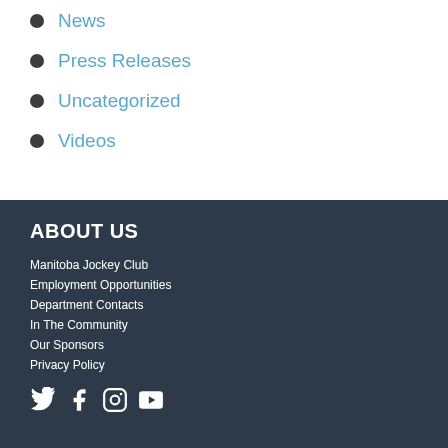News
Press Releases
Uncategorized
Videos
ABOUT US
Manitoba Jockey Club
Employment Opportunities
Department Contacts
In The Community
Our Sponsors
Privacy Policy
[Figure (other): Social media icons: Twitter, Facebook, Instagram, YouTube]